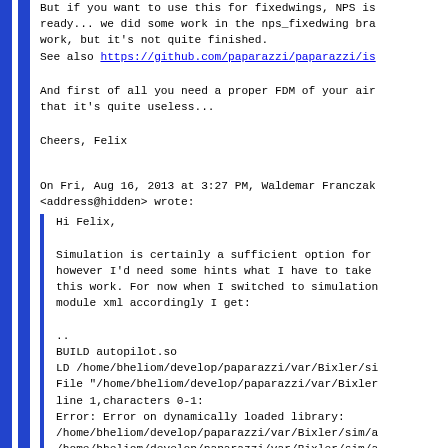But if you want to use this for fixedwings, NPS is ready... we did some work in the nps_fixedwing bra work, but it's not quite finished.
See also https://github.com/paparazzi/paparazzi/is
And first of all you need a proper FDM of your air that it's quite useless...
Cheers, Felix
On Fri, Aug 16, 2013 at 3:27 PM, Waldemar Franczak <address@hidden> wrote:
Hi Felix,

Simulation is certainly a sufficient option for however I'd need some hints what I have to take this work. For now when I switched to simulation module xml accordingly I get:

..
BUILD autopilot.so
LD /home/bheliom/develop/paparazzi/var/Bixler/si
File "/home/bheliom/develop/paparazzi/var/Bixler
line 1,characters 0-1:
Error: Error on dynamically loaded library:
/home/bheliom/develop/paparazzi/var/Bixler/sim/a
/home/bheliom/develop/paparazzi/var/Bixler/sim/a
undefined symbol: AddIpoptNumOption
make[1]: ***
[/home/bheliom/develop/paparazzi/var/Bixler/sim